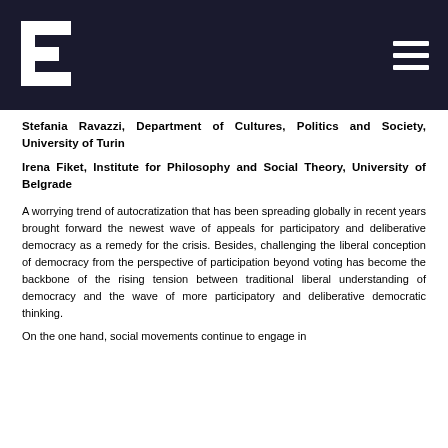[Figure (logo): White logo mark on dark navy background, geometric angular E-like shape]
Stefania Ravazzi, Department of Cultures, Politics and Society, University of Turin
Irena Fiket, Institute for Philosophy and Social Theory, University of Belgrade
A worrying trend of autocratization that has been spreading globally in recent years brought forward the newest wave of appeals for participatory and deliberative democracy as a remedy for the crisis. Besides, challenging the liberal conception of democracy from the perspective of participation beyond voting has become the backbone of the rising tension between traditional liberal understanding of democracy and the wave of more participatory and deliberative democratic thinking.
On the one hand, social movements continue to engage in